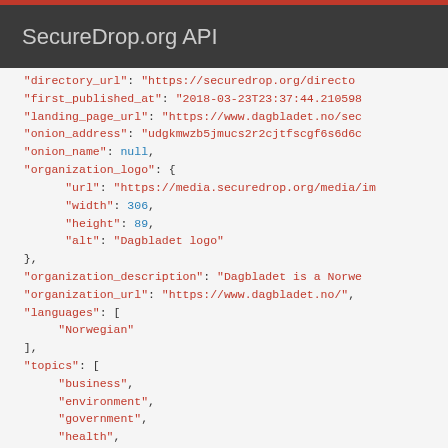SecureDrop.org API
JSON API response showing SecureDrop directory listing fields including directory_url, first_published_at, landing_page_url, onion_address, onion_name, organization_logo (url, width: 306, height: 89, alt: Dagbladet logo), organization_description, organization_url, languages: [Norwegian], topics: [business, environment, government, health, science], countries